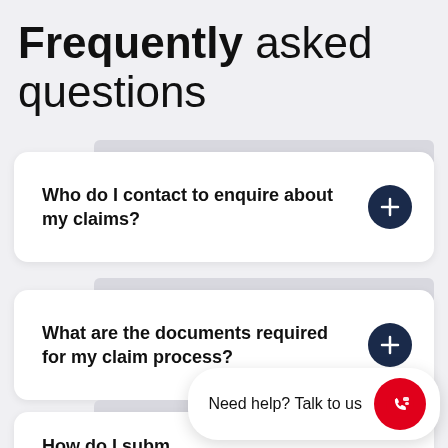Frequently asked questions
Who do I contact to enquire about my claims?
What are the documents required for my claim process?
How do I subm…
Need help? Talk to us